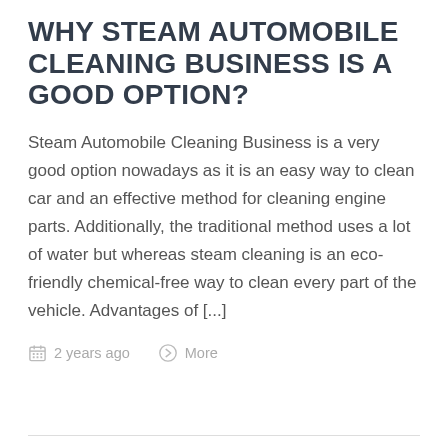WHY STEAM AUTOMOBILE CLEANING BUSINESS IS A GOOD OPTION?
Steam Automobile Cleaning Business is a very good option nowadays as it is an easy way to clean car and an effective method for cleaning engine parts. Additionally, the traditional method uses a lot of water but whereas steam cleaning is an eco-friendly chemical-free way to clean every part of the vehicle. Advantages of [...]
2 years ago   More